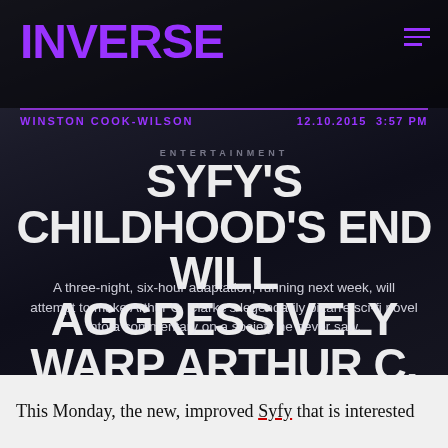INVERSE
WINSTON COOK-WILSON   12.10.2015  3:57 PM
[Figure (photo): Aerial/overhead view of people walking in a dark interior space, shot from above. Dark cinematic tones.]
ENTERTAINMENT
SYFY'S CHILDHOOD'S END WILL AGGRESSIVELY WARP ARTHUR C. CLARKE'S OMINOUS VISION FOR 2015
A three-night, six-hour adaptation, running next week, will attempt to make Arthur C. Clarke's legendarily bizarre sci-fi novel into a commentary on a society he never saw.
This Monday, the new, improved Syfy that is interested